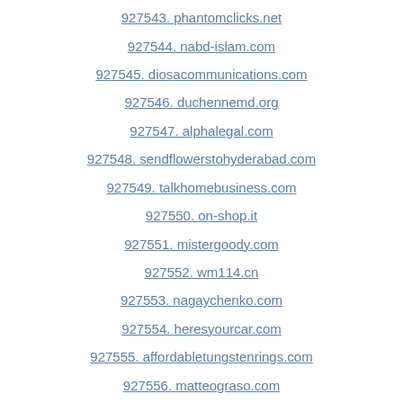927543. phantomclicks.net
927544. nabd-islam.com
927545. diosacommunications.com
927546. duchennemd.org
927547. alphalegal.com
927548. sendflowerstohyderabad.com
927549. talkhomebusiness.com
927550. on-shop.it
927551. mistergoody.com
927552. wm114.cn
927553. nagaychenko.com
927554. heresyourcar.com
927555. affordabletungstenrings.com
927556. matteograso.com